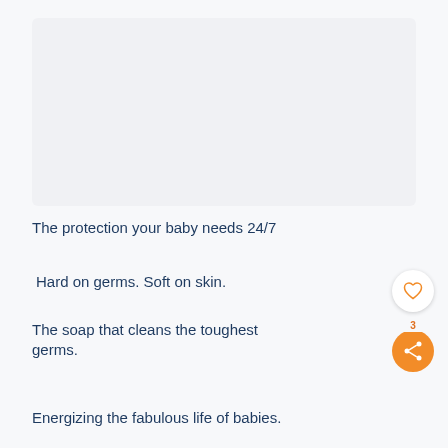[Figure (photo): Product image placeholder area (light gray rectangle)]
The protection your baby needs 24/7
Hard on germs. Soft on skin.
The soap that cleans the toughest germs.
Energizing the fabulous life of babies.